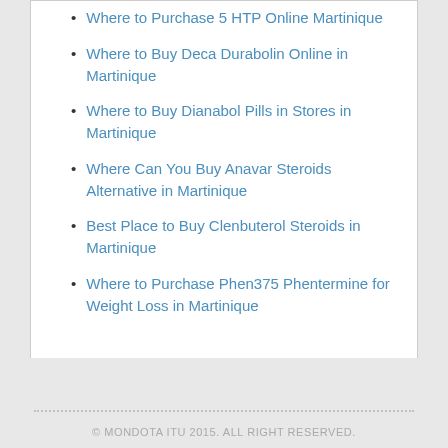Where to Purchase 5 HTP Online Martinique
Where to Buy Deca Durabolin Online in Martinique
Where to Buy Dianabol Pills in Stores in Martinique
Where Can You Buy Anavar Steroids Alternative in Martinique
Best Place to Buy Clenbuterol Steroids in Martinique
Where to Purchase Phen375 Phentermine for Weight Loss in Martinique
© MONDOTA ITU 2015. ALL RIGHT RESERVED.